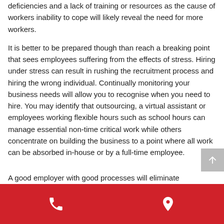deficiencies and a lack of training or resources as the cause of workers inability to cope will likely reveal the need for more workers.
It is better to be prepared though than reach a breaking point that sees employees suffering from the effects of stress. Hiring under stress can result in rushing the recruitment process and hiring the wrong individual. Continually monitoring your business needs will allow you to recognise when you need to hire. You may identify that outsourcing, a virtual assistant or employees working flexible hours such as school hours can manage essential non-time critical work while others concentrate on building the business to a point where all work can be absorbed in-house or by a full-time employee.
A good employer with good processes will eliminate uncertainty
phone icon | location icon